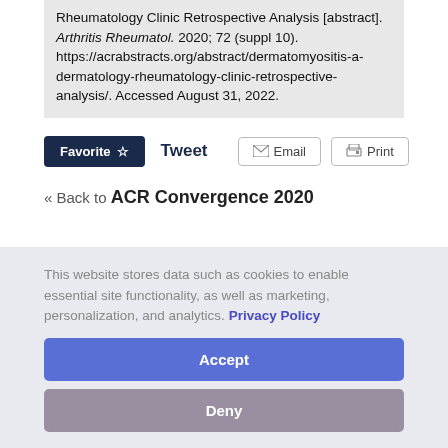Rheumatology Clinic Retrospective Analysis [abstract]. Arthritis Rheumatol. 2020; 72 (suppl 10). https://acrabstracts.org/abstract/dermatomyositis-a-dermatology-rheumatology-clinic-retrospective-analysis/. Accessed August 31, 2022.
Favorite ☆  Tweet  Email  Print
« Back to ACR Convergence 2020
This website stores data such as cookies to enable essential site functionality, as well as marketing, personalization, and analytics. Privacy Policy
Accept
Deny